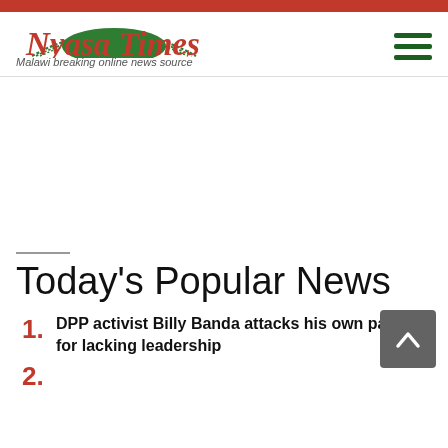Nyasa Times — Malawi breaking online news source
[Figure (other): Advertisement space (blank white area)]
Today's Popular News
1. DPP activist Billy Banda attacks his own party for lacking leadership
2. (partially visible)